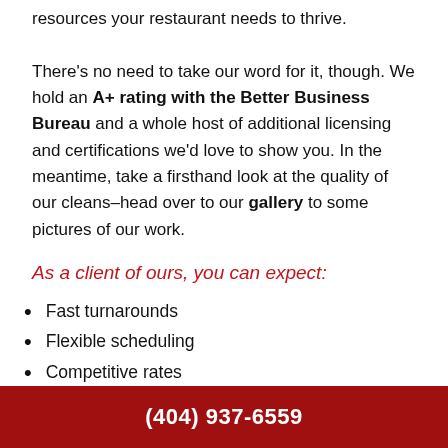resources your restaurant needs to thrive.

There's no need to take our word for it, though. We hold an A+ rating with the Better Business Bureau and a whole host of additional licensing and certifications we'd love to show you. In the meantime, take a firsthand look at the quality of our cleans–head over to our gallery to some pictures of our work.
As a client of ours, you can expect:
Fast turnarounds
Flexible scheduling
Competitive rates
Eco-friendly solutions
Robust client support
(404) 937-6559